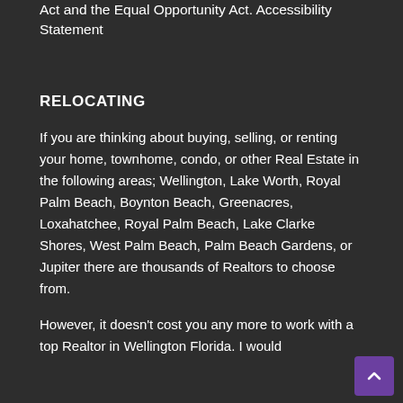Act and the Equal Opportunity Act. Accessibility Statement
RELOCATING
If you are thinking about buying, selling, or renting your home, townhome, condo, or other Real Estate in the following areas; Wellington, Lake Worth, Royal Palm Beach, Boynton Beach, Greenacres, Loxahatchee, Royal Palm Beach, Lake Clarke Shores, West Palm Beach, Palm Beach Gardens, or Jupiter there are thousands of Realtors to choose from.
However, it doesn't cost you any more to work with a top Realtor in Wellington Florida. I would